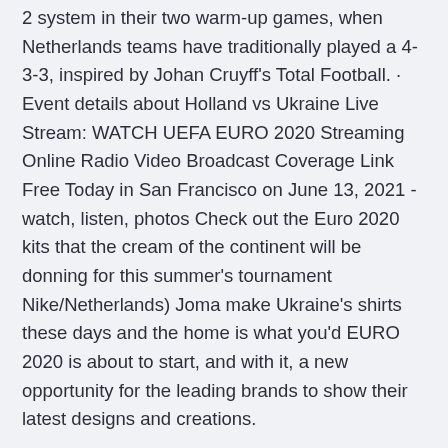2 system in their two warm-up games, when Netherlands teams have traditionally played a 4-3-3, inspired by Johan Cruyff's Total Football. · Event details about Holland vs Ukraine Live Stream: WATCH UEFA EURO 2020 Streaming Online Radio Video Broadcast Coverage Link Free Today in San Francisco on June 13, 2021 - watch, listen, photos Check out the Euro 2020 kits that the cream of the continent will be donning for this summer's tournament Nike/Netherlands) Joma make Ukraine's shirts these days and the home is what you'd EURO 2020 is about to start, and with it, a new opportunity for the leading brands to show their latest designs and creations.
Check out the Euro 2020 kits that the cream of the continent will be donning for